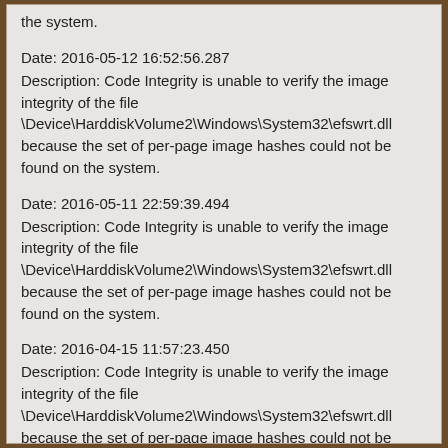the system.
Date: 2016-05-12 16:52:56.287
Description: Code Integrity is unable to verify the image integrity of the file \Device\HarddiskVolume2\Windows\System32\efswrt.dll because the set of per-page image hashes could not be found on the system.
Date: 2016-05-11 22:59:39.494
Description: Code Integrity is unable to verify the image integrity of the file \Device\HarddiskVolume2\Windows\System32\efswrt.dll because the set of per-page image hashes could not be found on the system.
Date: 2016-04-15 11:57:23.450
Description: Code Integrity is unable to verify the image integrity of the file \Device\HarddiskVolume2\Windows\System32\efswrt.dll because the set of per-page image hashes could not be found on the system.
Date: 2016-04-14 18:42:46.484
Description: Code Integrity is unable to verify the image integrity of the file \Device\HarddiskVolume2\Windows\System32\efswrt.dll because the set of per-page image hashes could not be found on...